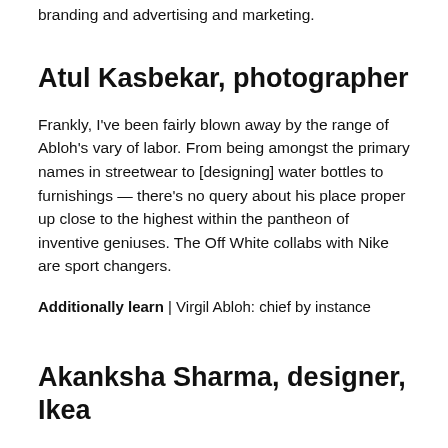branding and advertising and marketing.
Atul Kasbekar, photographer
Frankly, I've been fairly blown away by the range of Abloh's vary of labor. From being amongst the primary names in streetwear to [designing] water bottles to furnishings — there's no query about his place proper up close to the highest within the pantheon of inventive geniuses. The Off White collabs with Nike are sport changers.
Additionally learn | Virgil Abloh: chief by instance
Akanksha Sharma, designer, Ikea